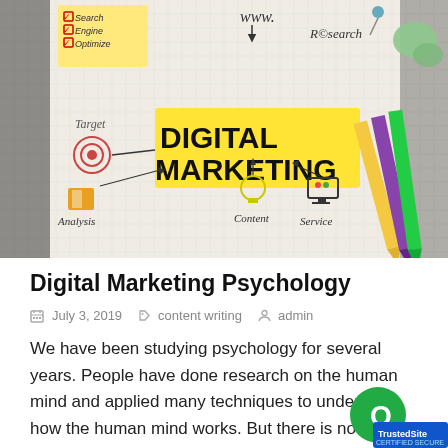[Figure (illustration): Digital Marketing concept illustration on a notebook page with pencils. Shows checkboxes for Search Engine Optimize, WWW with arrows, Research with pin, Target with bullseye, DIGITAL MARKETING highlighted in yellow, Analysis with book icon, Content with lightbulb, Service with monitor icon. Colorful pencils on the right side.]
Digital Marketing Psychology
July 3, 2019   content writing   admin
We have been studying psychology for several years. People have done research on the human mind and applied many techniques to understand how the human mind works. But there is no limit when it comes to exploring the unknown mind